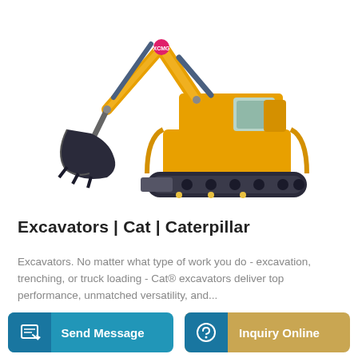[Figure (photo): Yellow XCMG mini excavator on white background, showing boom, arm, bucket attachment, cab, and rubber tracks with blade]
Excavators | Cat | Caterpillar
Excavators. No matter what type of work you do - excavation, trenching, or truck loading - Cat® excavators deliver top performance, unmatched versatility, and...